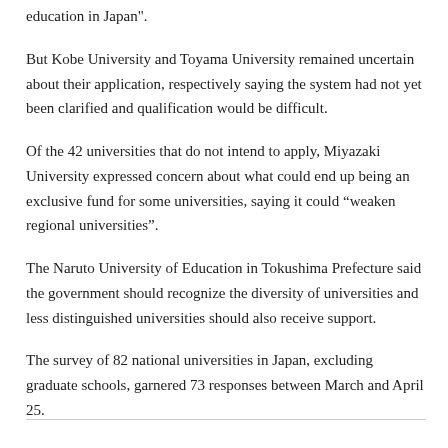education in Japan".
But Kobe University and Toyama University remained uncertain about their application, respectively saying the system had not yet been clarified and qualification would be difficult.
Of the 42 universities that do not intend to apply, Miyazaki University expressed concern about what could end up being an exclusive fund for some universities, saying it could “weaken regional universities”.
The Naruto University of Education in Tokushima Prefecture said the government should recognize the diversity of universities and less distinguished universities should also receive support.
The survey of 82 national universities in Japan, excluding graduate schools, garnered 73 responses between March and April 25.